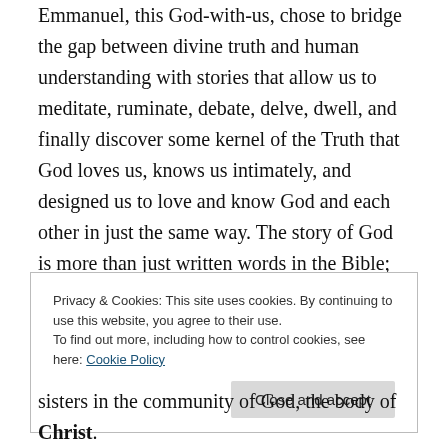Emmanuel, this God-with-us, chose to bridge the gap between divine truth and human understanding with stories that allow us to meditate, ruminate, debate, delve, dwell, and finally discover some kernel of the Truth that God loves us, knows us intimately, and designed us to love and know God and each other in just the same way. The story of God is more than just written words in the Bible; the Word of God came as living flesh to live out the story of God among us.
Privacy & Cookies: This site uses cookies. By continuing to use this website, you agree to their use. To find out more, including how to control cookies, see here: Cookie Policy
sisters in the community of God, the body of Christ.